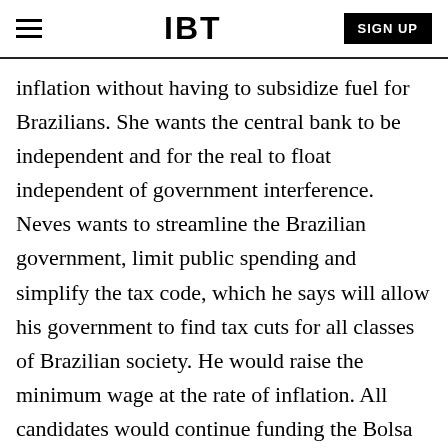IBT | SIGN UP
inflation without having to subsidize fuel for Brazilians. She wants the central bank to be independent and for the real to float independent of government interference. Neves wants to streamline the Brazilian government, limit public spending and simplify the tax code, which he says will allow his government to find tax cuts for all classes of Brazilian society. He would raise the minimum wage at the rate of inflation. All candidates would continue funding the Bolsa Família program, which pays out monthly stipends to low-income Brazilians.